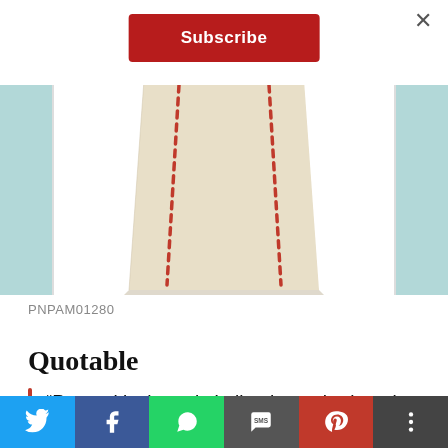[Figure (screenshot): Subscribe button (red background, white text) and close X button at top of modal overlay]
[Figure (photo): Watch leather strap, cream/beige color with red stitching visible down two vertical seams, photographed from above on white background with teal blue sides]
PNPAM01280
Quotable
“Panerai is the only Italian haute horlogerie brand outfitted with Swiss technology, and it’s endless pursuit of watchmaking
[Figure (screenshot): Social sharing bar at bottom: Twitter (blue), Facebook (dark blue), WhatsApp (green), SMS (grey), Pinterest (red), More (dark grey)]